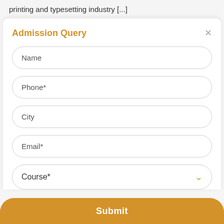printing and typesetting industry [...]
Admission Query
Name
Phone*
City
Email*
Course*
Submit